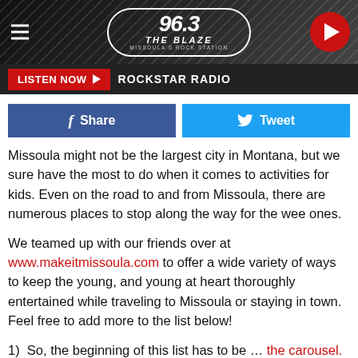[Figure (logo): 96.3 The Blaze radio station header with logo, hamburger menu, and play button]
LISTEN NOW ▶  ROCKSTAR RADIO
[Figure (screenshot): Facebook Share and Twitter Tweet social sharing buttons]
Missoula might not be the largest city in Montana, but we sure have the most to do when it comes to activities for kids. Even on the road to and from Missoula, there are numerous places to stop along the way for the wee ones.
We teamed up with our friends over at www.makeitmissoula.com to offer a wide variety of ways to keep the young, and young at heart thoroughly entertained while traveling to Missoula or staying in town. Feel free to add more to the list below!
1)  So, the beginning of this list has to be … the carousel.